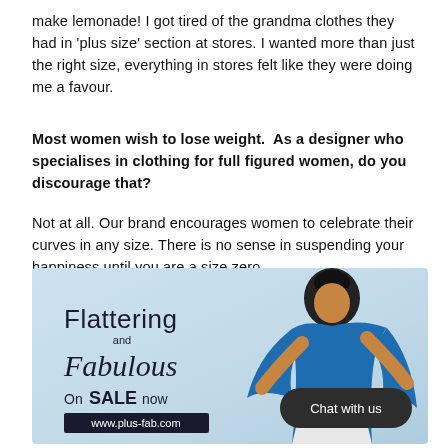make lemonade! I got tired of the grandma clothes they had in 'plus size' section at stores. I wanted more than just the right size, everything in stores felt like they were doing me a favour.
Most women wish to lose weight.  As a designer who specialises in clothing for full figured women, do you discourage that?
Not at all. Our brand encourages women to celebrate their curves in any size. There is no sense in suspending your happiness until you are a size zero.
[Figure (illustration): Advertisement for plus-fab.com featuring a plus-size woman in a blue flowing outfit against a light blue background. Text reads 'Flattering and Fabulous On SALE now www.plus-fab.com' with a dark chat bubble saying 'Chat with us'.]